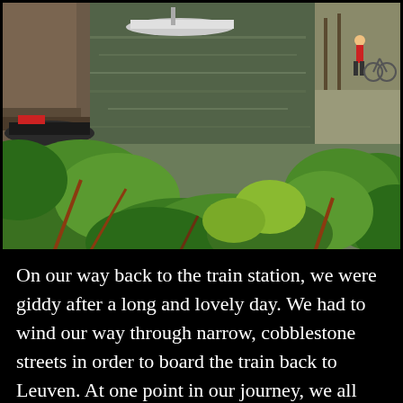[Figure (photo): A canal scene viewed through green leafy foliage in the foreground. Boats are moored along the left bank of the canal, with historic brick buildings visible behind them. The canal water reflects the overcast sky. On the right bank there is a stone quay with a person in a red jacket standing near a bicycle.]
On our way back to the train station, we were giddy after a long and lovely day. We had to wind our way through narrow, cobblestone streets in order to board the train back to Leuven. At one point in our journey, we all stopped to look up at